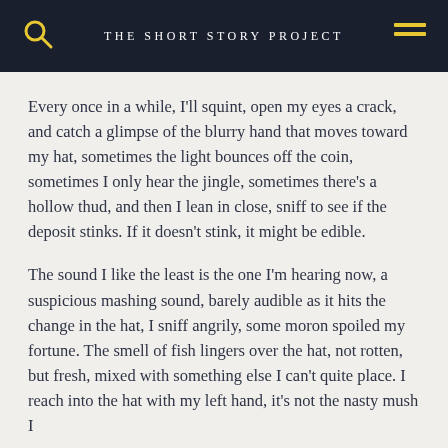THE SHORT STORY PROJECT
Every once in a while, I'll squint, open my eyes a crack, and catch a glimpse of the blurry hand that moves toward my hat, sometimes the light bounces off the coin, sometimes I only hear the jingle, sometimes there's a hollow thud, and then I lean in close, sniff to see if the deposit stinks. If it doesn't stink, it might be edible.
The sound I like the least is the one I'm hearing now, a suspicious mashing sound, barely audible as it hits the change in the hat, I sniff angrily, some moron spoiled my fortune. The smell of fish lingers over the hat, not rotten, but fresh, mixed with something else I can't quite place. I reach into the hat with my left hand, it's not the nasty mush I